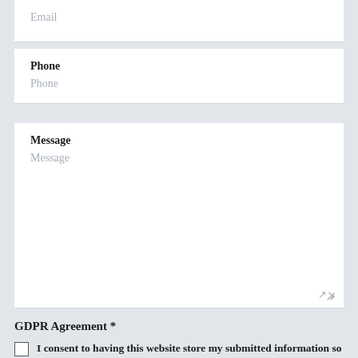Email
Phone
Phone
Message
Message
GDPR Agreement *
I consent to having this website store my submitted information so they can respond to my inquiry.